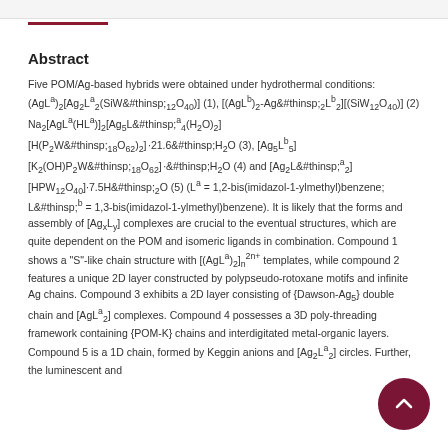Abstract
Five POM/Ag-based hybrids were obtained under hydrothermal conditions: (AgLa)2[Ag2La2(SiW12O40)] (1), [(AgLb)2-Ag2Lb2][(SiW12O40)] (2) Na2[AgLa(HLa)]2[Ag5La4(H2O)2][H(P2W18O62)2]·21.6H2O (3), [Ag5Lb5][K2(OH)P2W18O62]·H2O (4) and [Ag2La2][HPW12O40]·7.5H2O (5) (La = 1,2-bis(imidazol-1-ylmethyl)benzene; Lb = 1,3-bis(imidazol-1-ylmethyl)benzene). It is likely that the forms and assembly of [AgxLy] complexes are crucial to the eventual structures, which are quite dependent on the POM and isomeric ligands in combination. Compound 1 shows a "S"-like chain structure with [(AgLa)2]n2n+ templates, while compound 2 features a unique 2D layer constructed by polypseudo-rotoxane motifs and infinite Ag chains. Compound 3 exhibits a 2D layer consisting of {Dawson-Ag5} double chain and [AgLa2] complexes. Compound 4 possesses a 3D poly-threading framework containing {POM-K} chains and interdigitated metal-organic layers. Compound 5 is a 1D chain, formed by Keggin anions and [Ag2La2] circles. Further, the luminescent and